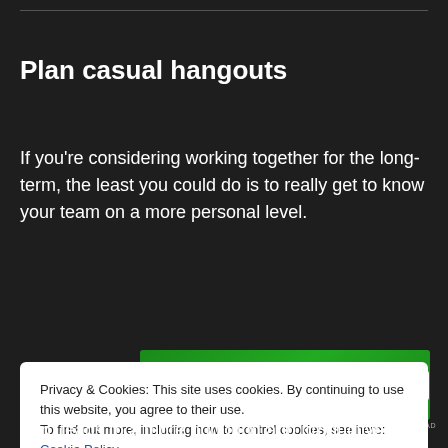Plan casual hangouts
If you're considering working together for the long-term, the least you could do is to really get to know your team on a more personal level.
[Figure (screenshot): Jetpack advertisement banner with green background showing Jetpack logo and 'Back up your site' button]
Privacy & Cookies: This site uses cookies. By continuing to use this website, you agree to their use.
To find out more, including how to control cookies, see here:
Cookie Policy
Close and accept
turn, leads to a more nurturing and productive